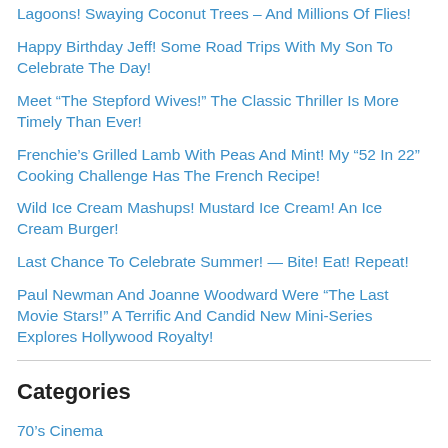Lagoons! Swaying Coconut Trees – And Millions Of Flies!
Happy Birthday Jeff! Some Road Trips With My Son To Celebrate The Day!
Meet “The Stepford Wives!” The Classic Thriller Is More Timely Than Ever!
Frenchie’s Grilled Lamb With Peas And Mint! My “52 In 22” Cooking Challenge Has The French Recipe!
Wild Ice Cream Mashups! Mustard Ice Cream! An Ice Cream Burger!
Last Chance To Celebrate Summer! — Bite! Eat! Repeat!
Paul Newman And Joanne Woodward Were “The Last Movie Stars!” A Terrific And Candid New Mini-Series Explores Hollywood Royalty!
Categories
70’s Cinema
70’s Music
Academy Awards
Action Films
Africa